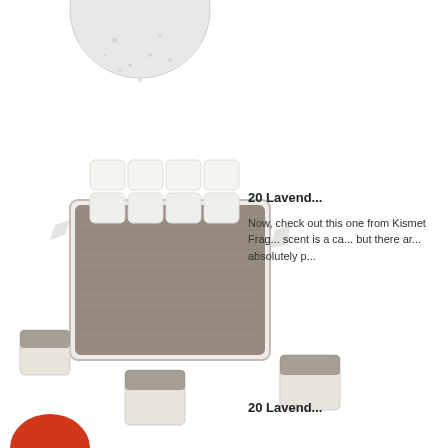[Figure (photo): Partial view of a round white speckled bath bomb or similar product, cropped at top of page]
[Figure (photo): Lavender wax melts product: a clear tray filled with dried lavender herb, topped with white wax cubes; three lavender-topped wax cubes are scattered around the tray]
20 Lavend...
Now, check out this one from Kismet Frag... scent is a ca... but there ar... absolutely p...
20 Lavend...
[Figure (photo): Partial view of a red circular product at the bottom left corner of the page, cropped]